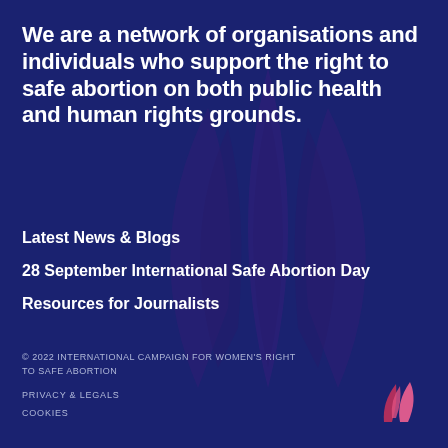We are a network of organisations and individuals who support the right to safe abortion on both public health and human rights grounds.
[Figure (illustration): Large decorative stylized logo/emblem in dark purple/violet, consisting of abstract leaf or flame shapes, serving as background watermark]
Latest News & Blogs
28 September International Safe Abortion Day
Resources for Journalists
© 2022 INTERNATIONAL CAMPAIGN FOR WOMEN'S RIGHT TO SAFE ABORTION

PRIVACY & LEGALS

COOKIES
[Figure (logo): Small pink and light pink stylized logo mark, two overlapping triangular/leaf shapes forming a V or flame symbol]